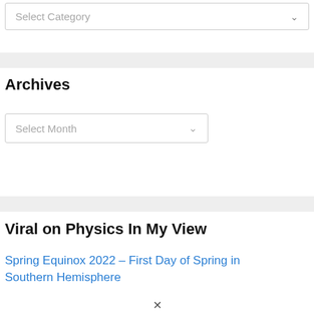[Figure (screenshot): Select Category dropdown box with chevron arrow]
Archives
[Figure (screenshot): Select Month dropdown box with chevron arrow]
Viral on Physics In My View
Spring Equinox 2022 – First Day of Spring in Southern Hemisphere